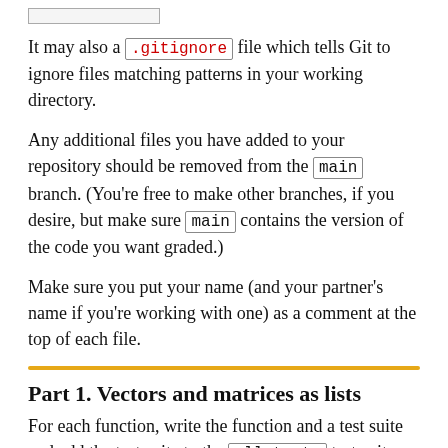[Figure (other): Small rectangular placeholder box at top of page]
It may also a .gitignore file which tells Git to ignore files matching patterns in your working directory.
Any additional files you have added to your repository should be removed from the main branch. (You're free to make other branches, if you desire, but make sure main contains the version of the code you want graded.)
Make sure you put your name (and your partner's name if you're working with one) as a comment at the top of each file.
Part 1. Vectors and matrices as lists
For each function, write the function and a test suite and add the test suite to the all-tests test suite. You